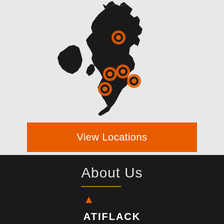[Figure (map): Black silhouette map of Great Britain and Ireland on light grey background, with 5 orange circle location markers: one in Scotland (Edinburgh area), two close together in the English Midlands, one south of those two, and one further east in England.]
View Locations
About Us